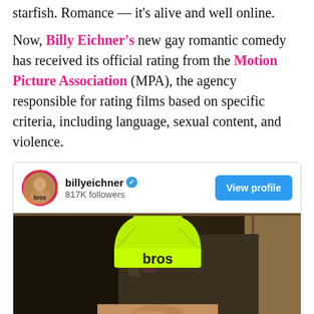starfish. Romance — it's alive and well online.
Now, Billy Eichner's new gay romantic comedy has received its official rating from the Motion Picture Association (MPA), the agency responsible for rating films based on specific criteria, including language, sexual content, and violence.
[Figure (screenshot): Instagram profile card for billyeichner showing 817K followers with a View profile button, and below it a mirror selfie photo of a shirtless person wearing a neon green beanie hat with 'bros' written on it, holding a phone taking a selfie.]